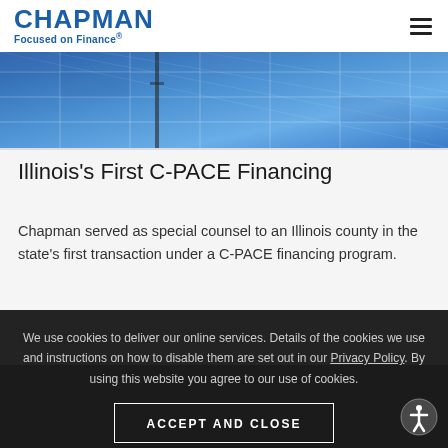CHAPMAN Focused on Finance®
[Figure (photo): Solar panels with blue sky, hero image for Chapman Finance website]
Illinois's First C-PACE Financing
Chapman served as special counsel to an Illinois county in the state's first transaction under a C-PACE financing program.
READ MORE
We use cookies to deliver our online services. Details of the cookies we use and instructions on how to disable them are set out in our Privacy Policy. By using this website you agree to our use of cookies.
ACCEPT AND CLOSE